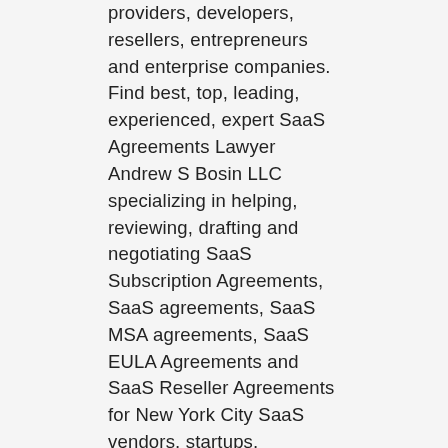providers, developers, resellers, entrepreneurs and enterprise companies. Find best, top, leading, experienced, expert SaaS Agreements Lawyer Andrew S Bosin LLC specializing in helping, reviewing, drafting and negotiating SaaS Subscription Agreements, SaaS agreements, SaaS MSA agreements, SaaS EULA Agreements and SaaS Reseller Agreements for New York City SaaS vendors, startups, providers, developers, resellers, entrepreneurs and enterprise companies. Find best, top, leading, experienced, expert SaaS Agreements Lawyer Andrew S Bosin LLC specializing in helping, reviewing, drafting and negotiating SaaS Subscription Agreements, SaaS agreements, SaaS MSA agreements, SaaS EULA Agreements and SaaS Reseller Agreements for Philadelphia SaaS vendors, startups, providers, developers, resellers, entrepreneurs and enterprise companies. Find best, top, leading, experienced, expert SaaS Agreements Lawyer Andrew S Bosin LLC specializing in helping, reviewing, drafting and negotiating SaaS Subscription Agreements, SaaS